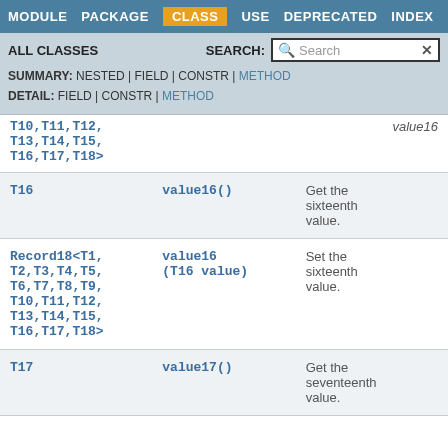MODULE  PACKAGE  CLASS  USE  DEPRECATED  INDEX  HELP
ALL CLASSES   SEARCH:
SUMMARY: NESTED | FIELD | CONSTR | METHOD
DETAIL: FIELD | CONSTR | METHOD
| Type | Method | Description |
| --- | --- | --- |
| T10,T11,T12,
T13,T14,T15,
T16,T17,T18> |  | value16 |
| T16 | value16() | Get the sixteenth value. |
| Record18<T1,
T2,T3,T4,T5,
T6,T7,T8,T9,
T10,T11,T12,
T13,T14,T15,
T16,T17,T18> | value16
(T16 value) | Set the sixteenth value. |
| T17 | value17() | Get the seventeenth value. |